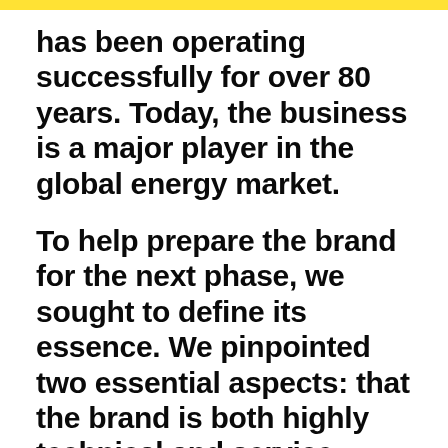has been operating successfully for over 80 years. Today, the business is a major player in the global energy market.
To help prepare the brand for the next phase, we sought to define its essence. We pinpointed two essential aspects: that the brand is both highly technical and service orientated. We encapsulated these seemingly disparate